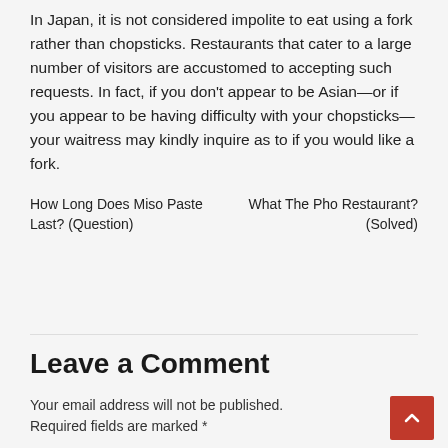In Japan, it is not considered impolite to eat using a fork rather than chopsticks. Restaurants that cater to a large number of visitors are accustomed to accepting such requests. In fact, if you don't appear to be Asian—or if you appear to be having difficulty with your chopsticks—your waitress may kindly inquire as to if you would like a fork.
How Long Does Miso Paste Last? (Question)
What The Pho Restaurant? (Solved)
Leave a Comment
Your email address will not be published. Required fields are marked *